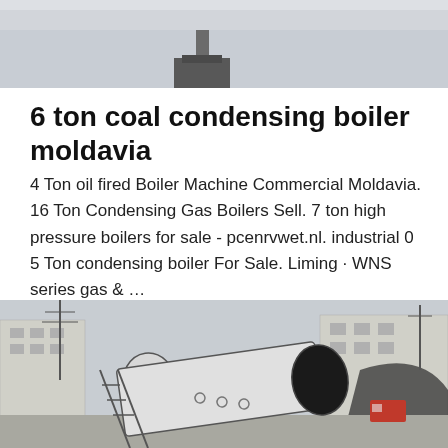[Figure (photo): Top portion of an outdoor scene with a pole/chimney structure against a grey sky background]
6 ton coal condensing boiler moldavia
4 Ton oil fired Boiler Machine Commercial Moldavia. 16 Ton Condensing Gas Boilers Sell. 7 ton high pressure boilers for sale - pcenrvwet.nl. industrial 0 5 Ton condensing boiler For Sale. Liming · WNS series gas & …
Get Price
[Figure (photo): Industrial boiler lying horizontally on the ground outdoors, with buildings visible in the background and a grey sky]